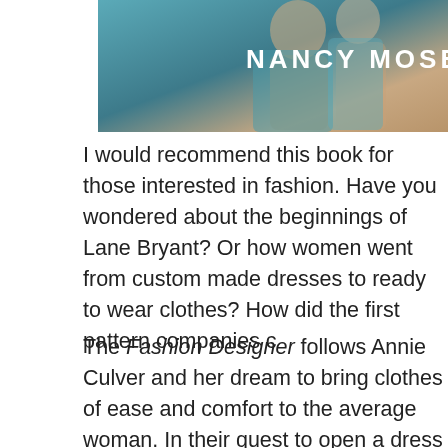[Figure (photo): Book cover showing 'NANCY MOSE' text (author name partially visible) over a photo of people in teal/blue tones]
I would recommend this book for those interested in fashion. Have you wondered about the beginnings of Lane Bryant? Or how women went from custom made dresses to ready to wear clothes? How did the first pattern companies c
The Fashion Designer follows Annie Culver and her dream to bring clothes of ease and comfort to the average woman. In their quest to open a dress shop, their faith is tested. But God is in control of their lives. They rely on prayer and seek the best in their business endeavors and in their personal relationships.
I liked how Nancy used the facts about Lane Bryant and also uses the suffragette movement and the presidential
This was an interesting read for me because I love h